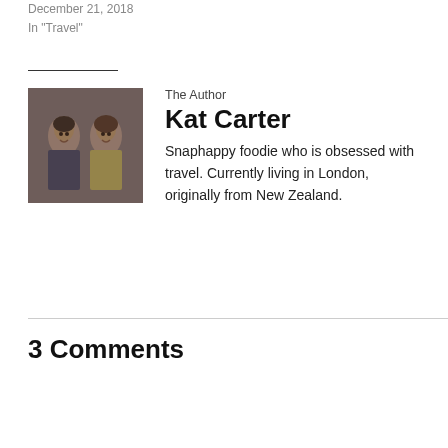December 21, 2018
In "Travel"
[Figure (photo): Photo of two women smiling, author bio photo]
The Author
Kat Carter
Snaphappy foodie who is obsessed with travel. Currently living in London, originally from New Zealand.
3 Comments